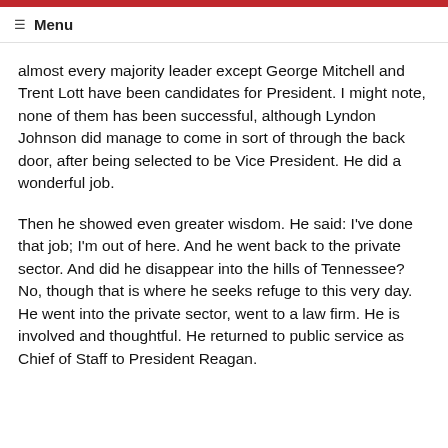☰  Menu
almost every majority leader except George Mitchell and Trent Lott have been candidates for President. I might note, none of them has been successful, although Lyndon Johnson did manage to come in sort of through the back door, after being selected to be Vice President. He did a wonderful job.
Then he showed even greater wisdom. He said: I've done that job; I'm out of here. And he went back to the private sector. And did he disappear into the hills of Tennessee? No, though that is where he seeks refuge to this very day. He went into the private sector, went to a law firm. He is involved and thoughtful. He returned to public service as Chief of Staff to President Reagan.